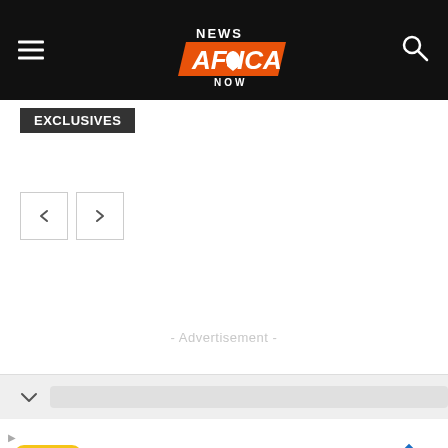NEWS AFRICA NOW
Exclusives
[Figure (other): Navigation left and right arrow buttons]
- Advertisement -
Other News
[Figure (screenshot): Browser chrome bar with chevron and URL bar]
[Figure (other): Ad banner: HC Hair Cuttery logo, text 'Your Everything Salon' and 'Hair Cuttery', blue diamond arrow icon]